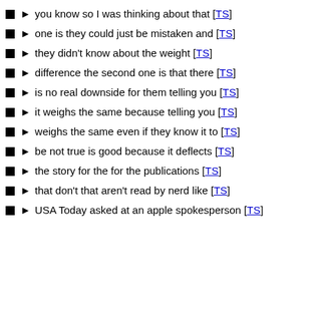you know so I was thinking about that [TS]
one is they could just be mistaken and [TS]
they didn't know about the weight [TS]
difference the second one is that there [TS]
is no real downside for them telling you [TS]
it weighs the same because telling you [TS]
weighs the same even if they know it to [TS]
be not true is good because it deflects [TS]
the story for the for the publications [TS]
that don't that aren't read by nerd like [TS]
USA Today asked at an apple spokesperson [TS]